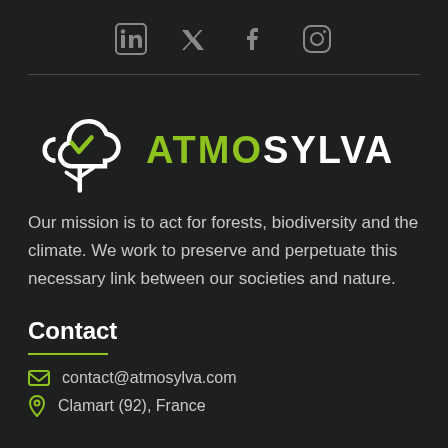[Figure (other): Social media icons row: LinkedIn, Twitter, Facebook, Instagram]
[Figure (logo): Atmosylva logo with cloud/tree icon and text ATMOSYLVA (ATMO in green, SYLVA in white)]
Our mission is to act for forests, biodiversity and the climate. We work to preserve and perpetuate this necessary link between our societies and nature.
Contact
contact@atmosylva.com
Clamart (92), France